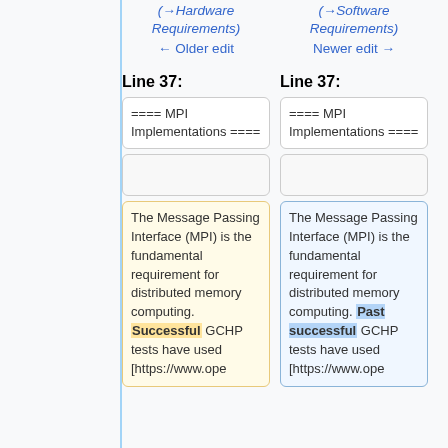(→Hardware Requirements)
(→Software Requirements)
← Older edit
Newer edit →
Line 37:
Line 37:
==== MPI Implementations ====
==== MPI Implementations ====
The Message Passing Interface (MPI) is the fundamental requirement for distributed memory computing. Successful GCHP tests have used [https://www.ope
The Message Passing Interface (MPI) is the fundamental requirement for distributed memory computing. Past successful GCHP tests have used [https://www.ope